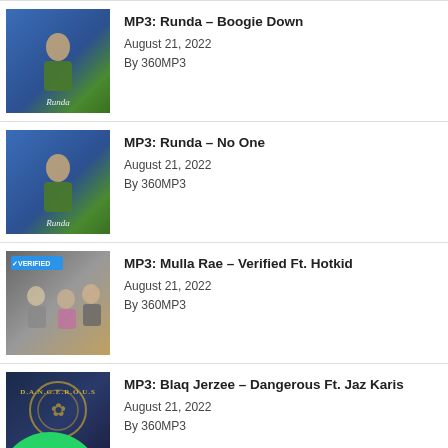MP3: Runda – Boogie Down
August 21, 2022
By 360MP3
MP3: Runda – No One
August 21, 2022
By 360MP3
MP3: Mulla Rae – Verified Ft. Hotkid
August 21, 2022
By 360MP3
MP3: Blaq Jerzee – Dangerous Ft. Jaz Karis
August 21, 2022
By 360MP3
MP3: Cassper Nyovest – Put Your Hands